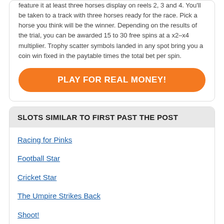feature it at least three horses display on reels 2, 3 and 4. You'll be taken to a track with three horses ready for the race. Pick a horse you think will be the winner. Depending on the results of the trial, you can be awarded 15 to 30 free spins at a x2–x4 multiplier. Trophy scatter symbols landed in any spot bring you a coin win fixed in the paytable times the total bet per spin.
PLAY FOR REAL MONEY!
SLOTS SIMILAR TO FIRST PAST THE POST
Racing for Pinks
Football Star
Cricket Star
The Umpire Strikes Back
Shoot!
Roller Derby